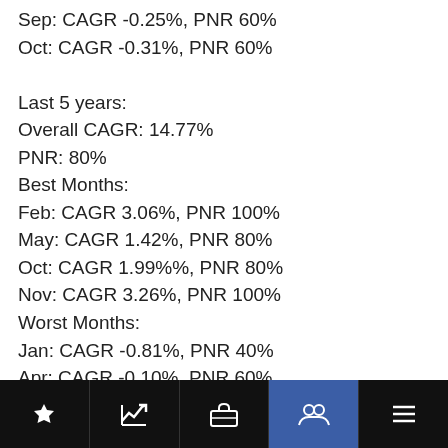Sep: CAGR -0.25%, PNR 60%
Oct: CAGR -0.31%, PNR 60%

Last 5 years:
Overall CAGR: 14.77%
PNR: 80%
Best Months:
Feb: CAGR 3.06%, PNR 100%
May: CAGR 1.42%, PNR 80%
Oct: CAGR 1.99%%, PNR 80%
Nov: CAGR 3.26%, PNR 100%
Worst Months:
Jan: CAGR -0.81%, PNR 40%
Apr: CAGR -0.10%, PNR 60%
Aug: CAGR -0.70%, PNR 40%
Aitrus
Moderator
Mon Jan 08, 2018 11:46 pm
trophy | chart | briefcase | people | menu